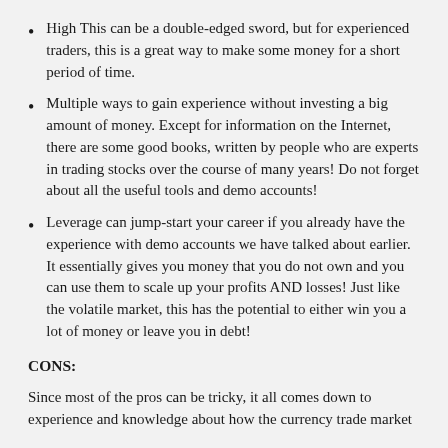High This can be a double-edged sword, but for experienced traders, this is a great way to make some money for a short period of time.
Multiple ways to gain experience without investing a big amount of money. Except for information on the Internet, there are some good books, written by people who are experts in trading stocks over the course of many years! Do not forget about all the useful tools and demo accounts!
Leverage can jump-start your career if you already have the experience with demo accounts we have talked about earlier. It essentially gives you money that you do not own and you can use them to scale up your profits AND losses! Just like the volatile market, this has the potential to either win you a lot of money or leave you in debt!
CONS:
Since most of the pros can be tricky, it all comes down to experience and knowledge about how the currency trade market